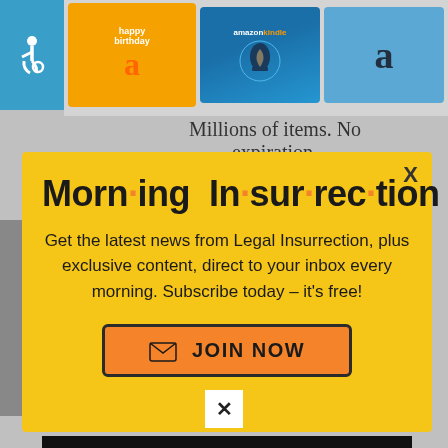[Figure (screenshot): Amazon gift card banner with accessibility icon, Happy Birthday card, Amazon Kindle card, and Amazon 'a' logo card]
Millions of items. No expiration.
▶ Shop now
Morn·ing In·sur·rec·tion
Get the latest news from Legal Insurrection, plus exclusive content, direct to your inbox every morning. Subscribe today – it's free!
JOIN NOW
Back to Top